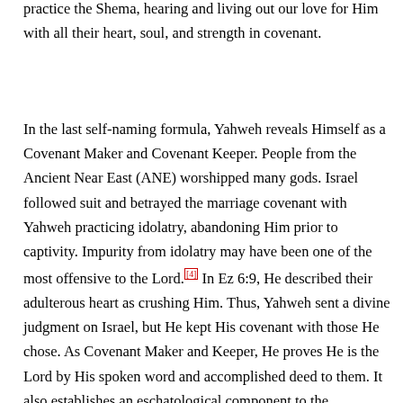practice the Shema, hearing and living out our love for Him with all their heart, soul, and strength in covenant.
In the last self-naming formula, Yahweh reveals Himself as a Covenant Maker and Covenant Keeper. People from the Ancient Near East (ANE) worshipped many gods. Israel followed suit and betrayed the marriage covenant with Yahweh practicing idolatry, abandoning Him prior to captivity. Impurity from idolatry may have been one of the most offensive to the Lord.[4] In Ez 6:9, He described their adulterous heart as crushing Him. Thus, Yahweh sent a divine judgment on Israel, but He kept His covenant with those He chose. As Covenant Maker and Keeper, He proves He is the Lord by His spoken word and accomplished deed to them. It also establishes an eschatological component to the fulfillment of Israel. Brueggemann called the regathered to Israel a generation of promise for that reason.[5] Further,